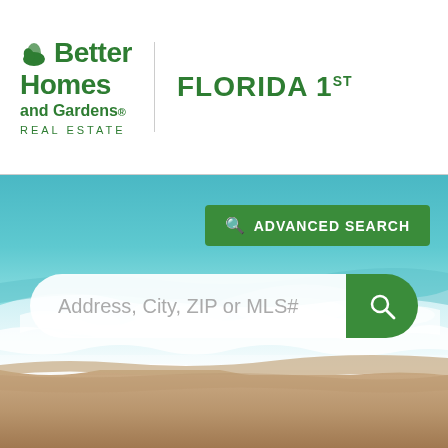[Figure (logo): Better Homes and Gardens Real Estate logo with leaf icon]
FLORIDA 1ST
[Figure (photo): Aerial beach photo showing teal ocean waves meeting sandy shore]
ADVANCED SEARCH
Address, City, ZIP or MLS#